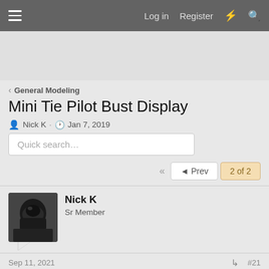≡  Log in  Register  ⚡  🔍
< General Modeling
Mini Tie Pilot Bust Display
Nick K · Jan 7, 2019
Quick search…
◄◄  ◄ Prev  2 of 2
Nick K
Sr Member
Sep 11, 2021  #21
The tab stop...